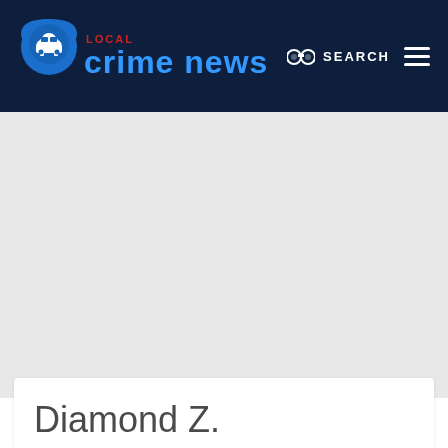LOCAL crime news — SEARCH
Diamond Z.